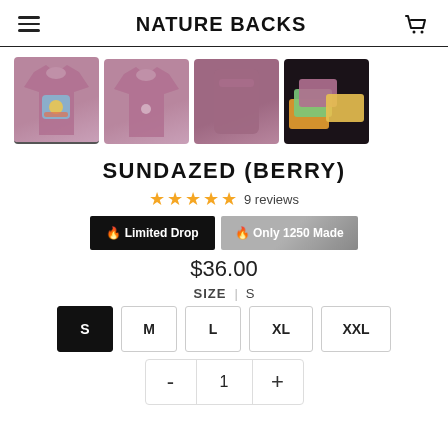NATURE BACKS
[Figure (photo): Four thumbnail images of a berry/mauve colored t-shirt: front graphic view, back/plain view, folded view, and a group shot with multiple colored shirts]
SUNDAZED (BERRY)
★★★★★ 9 reviews
🔥 Limited Drop   🔥 Only 1250 Made
$36.00
SIZE | S
S   M   L   XL   XXL
- 1 +